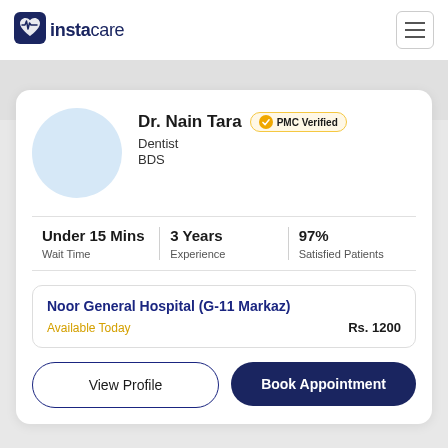instacare
Dr. Nain Tara — PMC Verified
Dentist
BDS
Under 15 Mins — Wait Time | 3 Years — Experience | 97% — Satisfied Patients
Noor General Hospital (G-11 Markaz)
Available Today
Rs. 1200
View Profile | Book Appointment